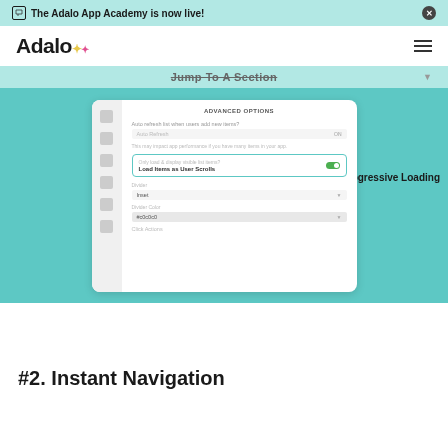The Adalo App Academy is now live!
[Figure (screenshot): Adalo app builder interface showing Advanced Options panel with 'Load Items as User Scrolls' toggle enabled and a callout label reading 'Enable Progressive Loading']
#2. Instant Navigation